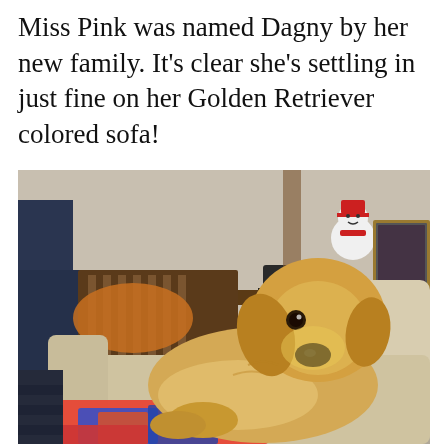Miss Pink was named Dagny by her new family. It's clear she's settling in just fine on her Golden Retriever colored sofa!
[Figure (photo): A golden retriever puppy lying on a cream/beige sofa. In the background there is a rocking chair with an orange cushion, a dark blue armchair, a table with items on it, a snowman decoration, and a framed photo. The puppy is resting on a colorful patchwork quilt/blanket.]